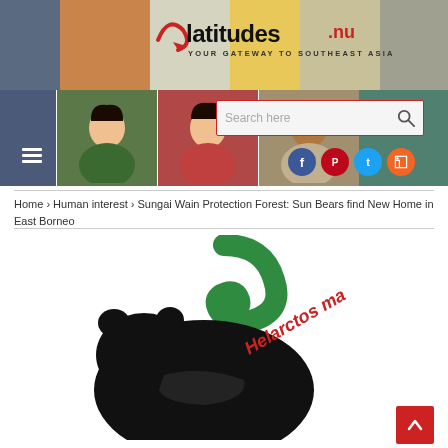[Figure (screenshot): Website header for latitudes.nu with tagline YOUR GATEWAY TO SOUTHEAST ASIA, showing multiple people photos, a search bar, hamburger menu, and social media icons (Facebook, Pinterest, Twitter, RSS)]
Home > Human interest > Sungai Wain Protection Forest: Sun Bears find New Home in East Borneo
[Figure (logo): Helarctos malayanus sun bear logo: black silhouette of a bear with green spiral tail, red italic text reading Helarctos ma...]